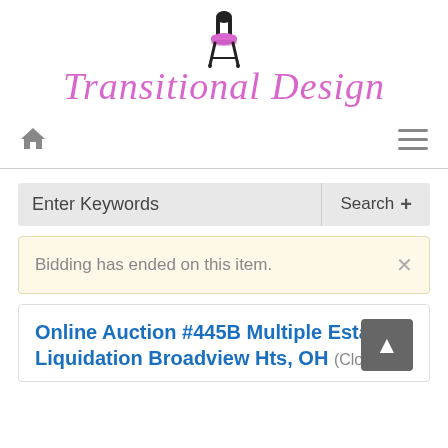[Figure (logo): Transitional Design logo with ornate chair icon above stylized pink italic script text reading 'Transitional Design']
Home navigation icon and hamburger menu icon
Enter Keywords  Search +
Bidding has ended on this item.
Online Auction #445B Multiple Estate Liquidation Broadview Hts, OH (Closed